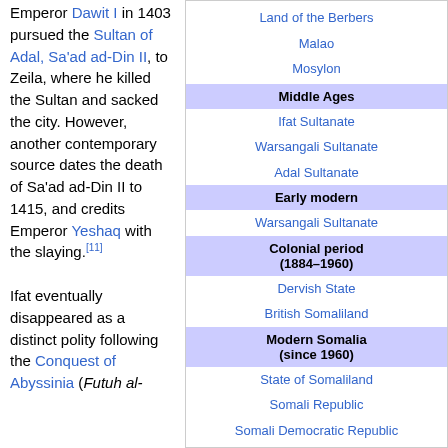Emperor Dawit I in 1403 pursued the Sultan of Adal, Sa'ad ad-Din II, to Zeila, where he killed the Sultan and sacked the city. However, another contemporary source dates the death of Sa'ad ad-Din II to 1415, and credits Emperor Yeshaq with the slaying.[11]
Ifat eventually disappeared as a distinct polity following the Conquest of Abyssinia (Futuh al-
Land of the Berbers
Malao
Mosylon
Middle Ages
Ifat Sultanate
Warsangali Sultanate
Adal Sultanate
Early modern
Warsangali Sultanate
Colonial period (1884–1960)
Dervish State
British Somaliland
Modern Somalia (since 1960)
State of Somaliland
Somali Republic
Somali Democratic Republic
Somaliland
🇸🇴 Somaliland portal